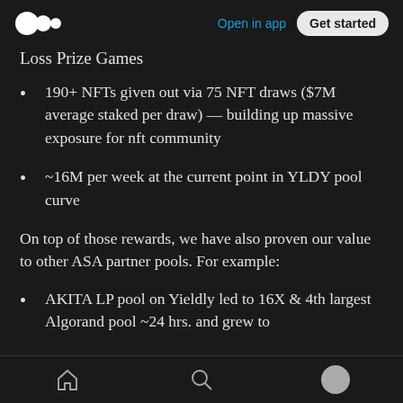Open in app | Get started
Loss Prize Games
190+ NFTs given out via 75 NFT draws ($7M average staked per draw) — building up massive exposure for nft community
~16M per week at the current point in YLDY pool curve
On top of those rewards, we have also proven our value to other ASA partner pools. For example:
AKITA LP pool on Yieldly led to 16X & 4th largest Algorand pool ~24 hrs. and grew to
Home | Search | Profile